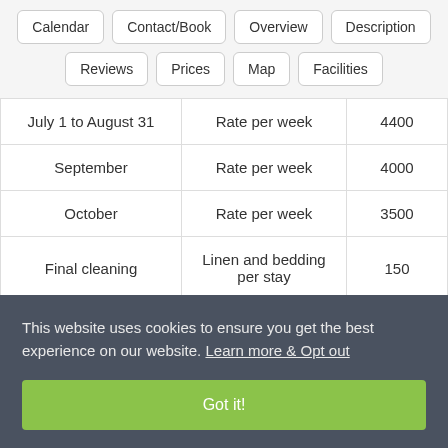Calendar | Contact/Book | Overview | Description | Reviews | Prices | Map | Facilities
|  |  |  |
| --- | --- | --- |
| July 1 to August 31 | Rate per week | 4400 |
| September | Rate per week | 4000 |
| October | Rate per week | 3500 |
| Final cleaning | Linen and bedding per stay | 150 |
This website uses cookies to ensure you get the best experience on our website. Learn more & Opt out
Got it!